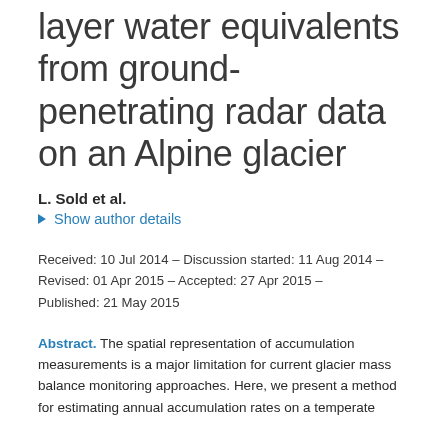layer water equivalents from ground-penetrating radar data on an Alpine glacier
L. Sold et al.
▶ Show author details
Received: 10 Jul 2014 – Discussion started: 11 Aug 2014 – Revised: 01 Apr 2015 – Accepted: 27 Apr 2015 – Published: 21 May 2015
Abstract. The spatial representation of accumulation measurements is a major limitation for current glacier mass balance monitoring approaches. Here, we present a method for estimating annual accumulation rates on a temperate